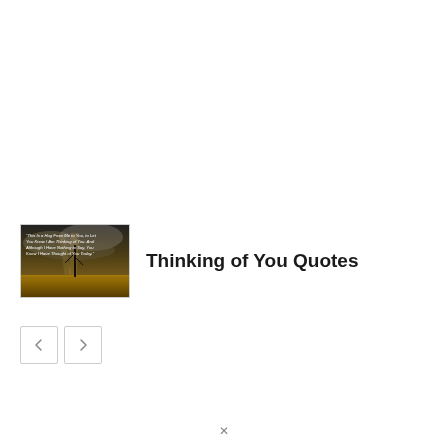[Figure (photo): Thumbnail image of a stormy sky over a field with white text overlay: 'This Is a Hug From Me to You, to Let You Know I Am Thinking of You. And Although I Have Nothing to Say, You Know I Have Thought of You Today.']
Thinking of You Quotes